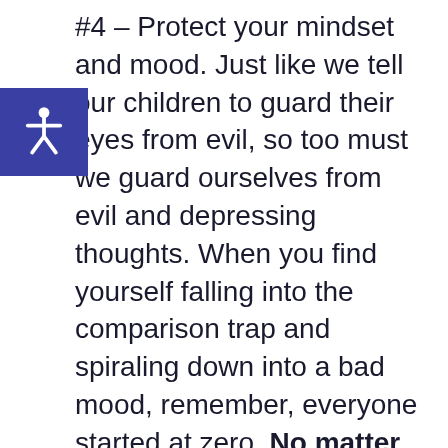#4 – Protect your mindset and mood. Just like we tell our children to guard their eyes from evil, so too must we guard ourselves from evil and depressing thoughts. When you find yourself falling into the comparison trap and spiraling down into a bad mood, remember, everyone started at zero. No matter how big some bloggers appear right now, they started with a brand new domain name and zero email subscribers. Just like you. Let their success fuel you – if they can do it – gosh darn, you can too!